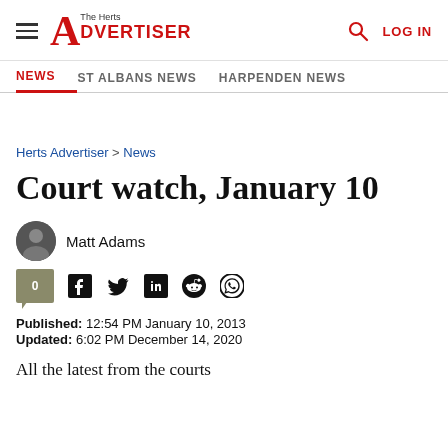The Herts Advertiser — LOG IN
NEWS | ST ALBANS NEWS | HARPENDEN NEWS
Herts Advertiser > News
Court watch, January 10
Matt Adams
Published: 12:54 PM January 10, 2013
Updated: 6:02 PM December 14, 2020
All the latest from the courts